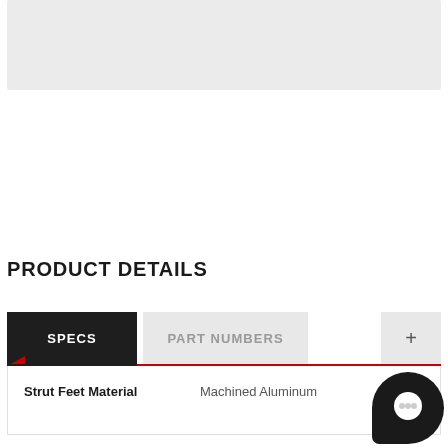[Figure (photo): Light gray placeholder rectangle representing a product image area at the top of the page]
PRODUCT DETAILS
| SPECS | PART NUMBERS | + |
| --- | --- | --- |
Strut Feet Material    Machined Aluminum